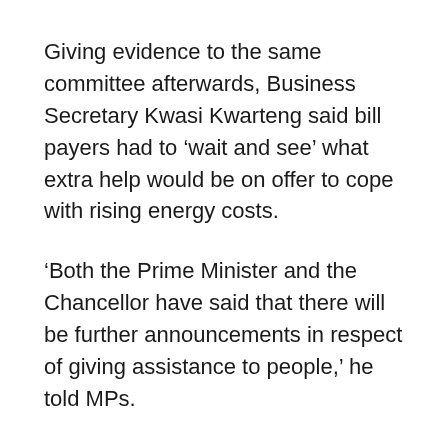Giving evidence to the same committee afterwards, Business Secretary Kwasi Kwarteng said bill payers had to ‘wait and see’ what extra help would be on offer to cope with rising energy costs.
‘Both the Prime Minister and the Chancellor have said that there will be further announcements in respect of giving assistance to people,’ he told MPs.
He told the Business, Energy and Industrial Strategy Committee that £9.1 billion had already been allocated to help with rising bills. But faced